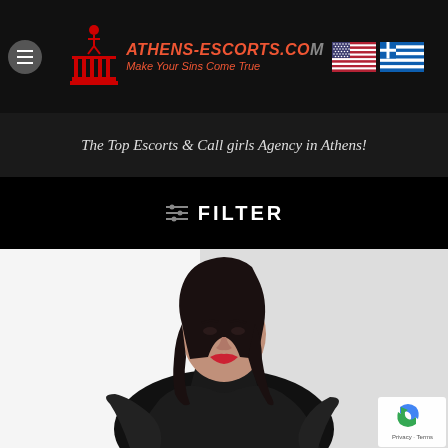ATHENS-ESCORTS.CO Make Your Sins Come True
The Top Escorts & Call girls Agency in Athens!
≡ FILTER
[Figure (photo): Portrait photo of a woman with dark hair wearing a black satin turtleneck top, against a white/grey background]